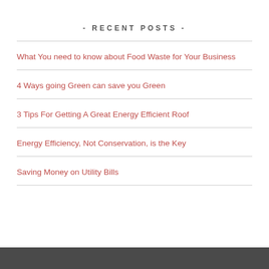- RECENT POSTS -
What You need to know about Food Waste for Your Business
4 Ways going Green can save you Green
3 Tips For Getting A Great Energy Efficient Roof
Energy Efficiency, Not Conservation, is the Key
Saving Money on Utility Bills